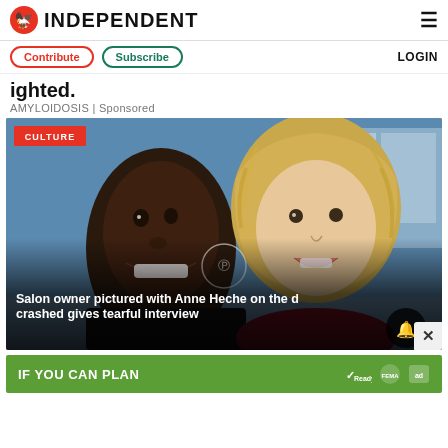INDEPENDENT
Contribute | Subscribe | LOGIN
ighted.
AMYLOIDOSIS | Sponsored
[Figure (photo): Selfie photo of two people — a Black man and a blonde woman — smiling closely together indoors with blue wall background. Red CULTURE badge overlaid top-left. Overlay text at bottom: 'Salon owner pictured with Anne Heche on the day she crashed gives tearful interview']
[Figure (infographic): Green advertisement banner reading 'IF YOU CAN PLAN' with Ready, FEMA, and ad logos on the right]